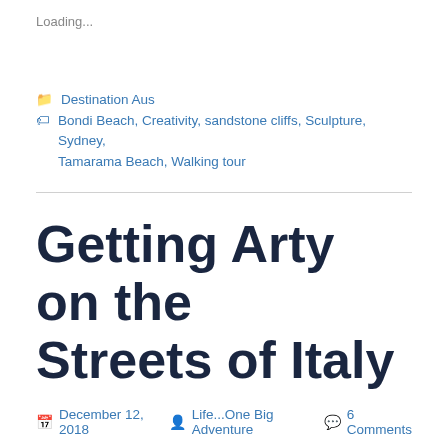Loading...
Destination Aus
Bondi Beach, Creativity, sandstone cliffs, Sculpture, Sydney, Tamarama Beach, Walking tour
Getting Arty on the Streets of Italy
December 12, 2018  Life...One Big Adventure  6 Comments
There really are some clever people in the World.